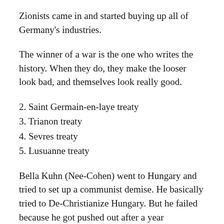Zionists came in and started buying up all of Germany's industries.
The winner of a war is the one who writes the history. When they do, they make the looser look bad, and themselves look really good.
2. Saint Germain-en-laye treaty
3. Trianon treaty
4. Sevres treaty
5. Lusuanne treaty
Bella Kuhn (Nee-Cohen) went to Hungary and tried to set up a communist demise. He basically tried to De-Christianize Hungary. But he failed because he got pushed out after a year